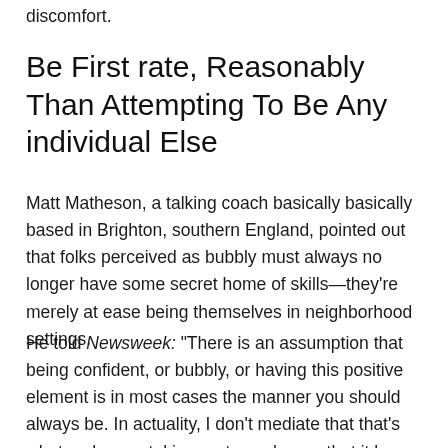discomfort.
Be First rate, Reasonably Than Attempting To Be Any individual Else
Matt Matheson, a talking coach basically basically based in Brighton, southern England, pointed out that folks perceived as bubbly must always no longer have some secret home of skills—they're merely at ease being themselves in neighborhood settings.
He told Newsweek: “There is an assumption that being confident, or bubbly, or having this positive element is in most cases the manner you should always be. In actuality, I don't mediate that that's what makes an taking part speaker, or that it be necessarily better than having an introverted personality. In my experience, it